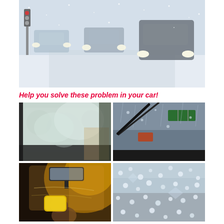[Figure (photo): Cars driving on a snowy road in blizzard conditions, with headlights on. Wintry scene showing poor visibility.]
Help you solve these problem in your car!
[Figure (photo): Fogged up car windshield from inside, heavy condensation blocking visibility.]
[Figure (photo): Rainy windshield view from inside car with wiper blade, heavy rain reducing visibility.]
[Figure (photo): Person cleaning car windshield from inside with a cloth/sponge in warm golden light.]
[Figure (photo): Water droplets and ice on car windshield, close-up showing frost/rain accumulation.]